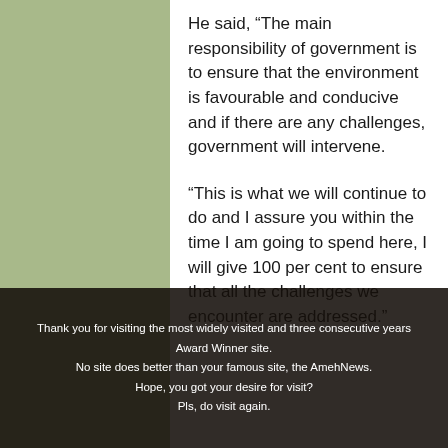He said, “The main responsibility of government is to ensure that the environment is favourable and conducive and if there are any challenges, government will intervene.
“This is what we will continue to do and I assure you within the time I am going to spend here, I will give 100 per cent to ensure that all the challenges we encounter are addressed.”
Thank you for visiting the most widely visited and three consecutive years Award Winner site. No site does better than your famous site, the AmehNews. Hope, you got your desire for visit? Pls, do visit again.